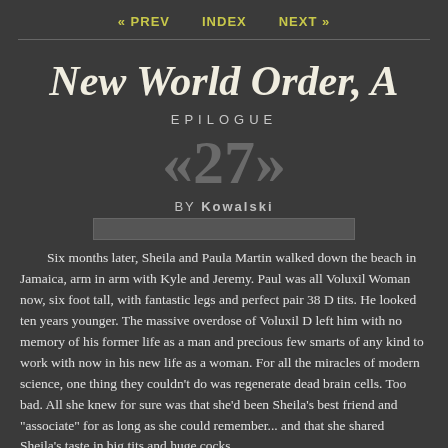« PREV   INDEX   NEXT »
New World Order, A
EPILOGUE
«27»
BY Kowalski
Six months later, Sheila and Paula Martin walked down the beach in Jamaica, arm in arm with Kyle and Jeremy. Paul was all Voluxil Woman now, six foot tall, with fantastic legs and perfect pair 38 D tits. He looked ten years younger. The massive overdose of Voluxil D left him with no memory of his former life as a man and precious few smarts of any kind to work with now in his new life as a woman. For all the miracles of modern science, one thing they couldn't do was regenerate dead brain cells. Too bad. All she knew for sure was that she'd been Sheila's best friend and "associate" for as long as she could remember... and that she shared Sheila's taste in big tits and huge cocks.
Kyle and Jeremy were waylaid one hot morning in their hotel room by Paula